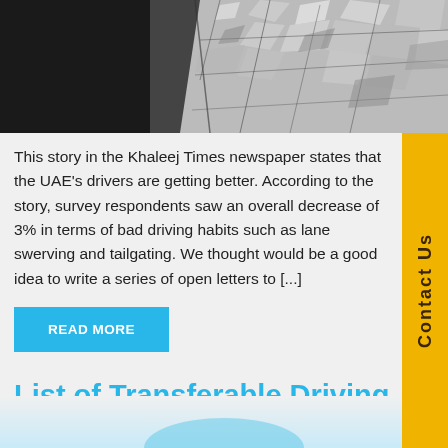[Figure (photo): Photo of a shattered car windshield/window with broken glass fragments scattered]
This story in the Khaleej Times newspaper states that the UAE's drivers are getting better. According to the story, survey respondents saw an overall decrease of 3% in terms of bad driving habits such as lane swerving and tailgating. We thought would be a good idea to write a series of open letters to [...]
READ MORE
List of Transferable Driving Licences
Posted by PayPerKay Driver .  Oct 23, 2018
[Figure (photo): Partial bottom image, blue tones, appears to be the top of a second article image]